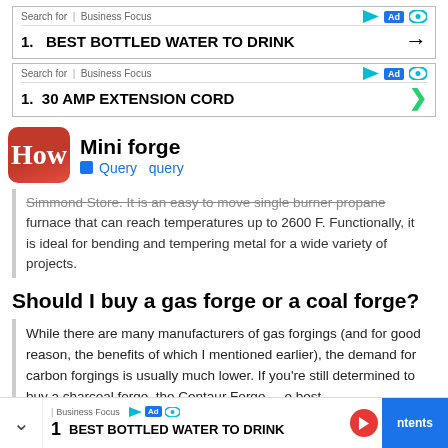[Figure (screenshot): Ad banner: Search for | Business Focus with play, Ad badge, eye icons. Item 1: BEST BOTTLED WATER TO DRINK with right arrow.]
[Figure (screenshot): Ad banner: Search for | Business Focus with play, Ad badge, eye icons. Item 1: 30 AMP EXTENSION CORD with green chevron arrow.]
[Figure (logo): HowStuffWorks logo - red rounded square with 'How' text, next to 'Mini forge' title and query tag]
Simmond Store. It is an easy to move single burner propane furnace that can reach temperatures up to 2600 F. Functionally, it is ideal for bending and tempering metal for a wide variety of projects.
Should I buy a gas forge or a coal forge?
While there are many manufacturers of gas forgings (and for good reason, the benefits of which I mentioned earlier), the demand for carbon forgings is usually much lower. If you're still determined to buy a charcoal forge, the Centaur Forge is the best charc...
[Figure (screenshot): Bottom ad overlay: chevron down, Business Focus, play/Ad/eye icons, 1 BEST BOTTLED WATER TO DRINK, red play button, blue ntents button]